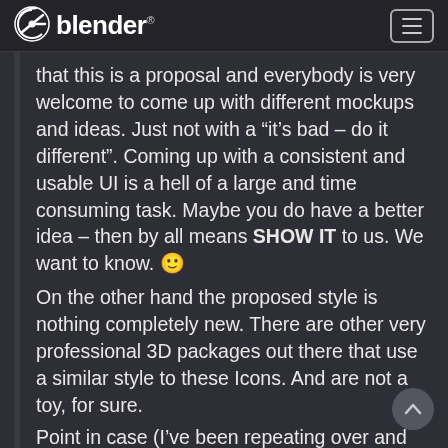blender
that this is a proposal and everybody is very welcome to come up with different mockups and ideas. Just not with a “it’s bad – do it different”. Coming up with a consistent and usable UI is a hell of a large and time consuming task. Maybe you do have a better idea – then by all means SHOW IT to us. We want to know. 🙂
On the other hand the proposed style is nothing completely new. There are other very professional 3D packages out there that use a similar style to these Icons. And are not a toy, for sure.
Point in case (I’ve been repeating over and over in these comments) – the style is very Modo-ish and Modo was very prominently used in many of the new Wolfenstein